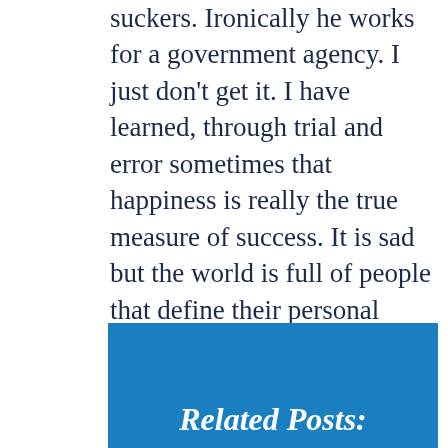suckers. Ironically he works for a government agency. I just don't get it. I have learned, through trial and error sometimes that happiness is really the true measure of success. It is sad but the world is full of people that define their personal success through the eyes of others. Others see success in only material things. The way I look at it; He who DIES with the most toys, is dead and the true measure of success is in fulfilling your dreams and helping others along the way. Am I wrong? I would love to hear some opinions.
Related Posts: